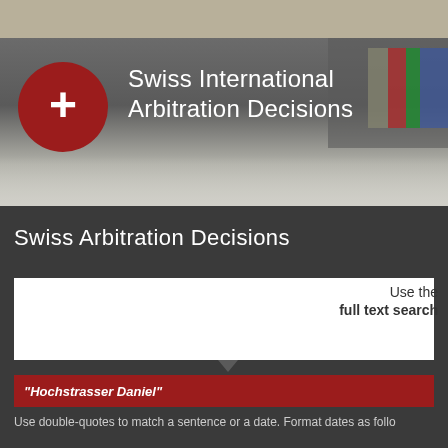[Figure (logo): Swiss International Arbitration Decisions logo with red circle containing a white cross, set against a blurred bookshelf background]
Swiss International Arbitration Decisions
Swiss Arbitration Decisions
Use the full text search
"Hochstrasser Daniel"
Use double-quotes to match a sentence or a date. Format dates as follo